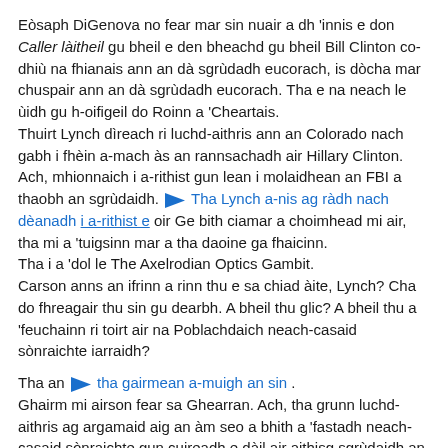Eòsaph DiGenova no fear mar sin nuair a dh 'innis e don Caller làitheil gu bheil e den bheachd gu bheil Bill Clinton co-dhiù na fhianais ann an dà sgrùdadh eucorach, is dòcha mar chuspair ann an dà sgrùdadh eucorach. Tha e na neach le ùidh gu h-oifigeil do Roinn a 'Cheartais.
Thuirt Lynch dìreach ri luchd-aithris ann an Colorado nach gabh i fhèin a-mach às an rannsachadh air Hillary Clinton.
Ach, mhionnaich i a-rithist gun lean i molaidhean an FBI a thaobh an sgrùdaidh. [flag] Tha Lynch a-nis ag ràdh nach dèanadh i a-rithist e oir Ge bith ciamar a choimhead mi air, tha mi a 'tuigsinn mar a tha daoine ga fhaicinn.
Tha i a 'dol le The Axelrodian Optics Gambit.
Carson anns an ifrinn a rinn thu e sa chiad àite, Lynch? Cha do fhreagair thu sin gu dearbh. A bheil thu glic? A bheil thu a 'feuchainn ri toirt air na Poblachdaich neach-casaid sònraichte iarraidh?
Tha an [flag] tha gairmean a-muigh an sin.
Ghairm mi airson fear sa Ghearran. Ach, tha grunn luchd-aithris ag argamaid aig an àm seo a bhith a 'fastadh neach-casaid sònraichte gun cuireadh e dàil air aithisg sgrùdaidh an FBI gus às deidh an taghadh. Dh'fheumedh an neiche-casaid sònraichte